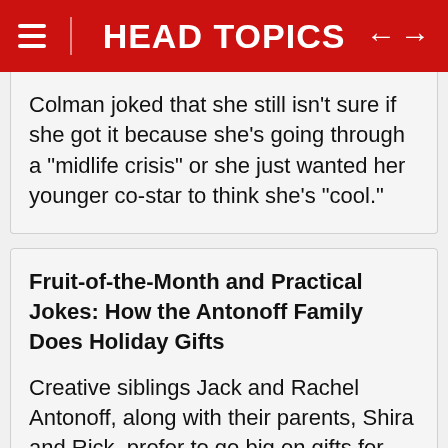HEAD TOPICS
Colman joked that she still isn’t sure if she got it because she’s going through a “midlife crisis” or she just wanted her younger co-star to think she’s “cool.”
Fruit-of-the-Month and Practical Jokes: How the Antonoff Family Does Holiday Gifts
Creative siblings Jack and Rachel Antonoff, along with their parents, Shira and Rick, prefer to go big on gifts for birthdays.